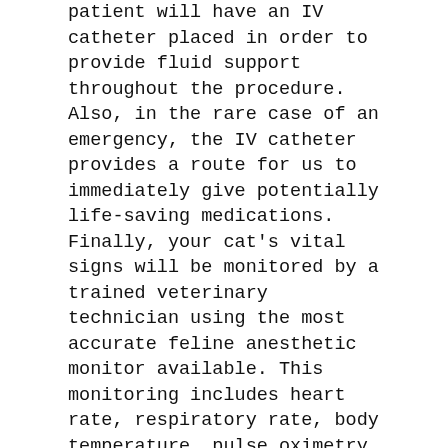patient will have an IV catheter placed in order to provide fluid support throughout the procedure. Also, in the rare case of an emergency, the IV catheter provides a route for us to immediately give potentially life-saving medications. Finally, your cat's vital signs will be monitored by a trained veterinary technician using the most accurate feline anesthetic monitor available. This monitoring includes heart rate, respiratory rate, body temperature, pulse oximetry, ECG, blood pressure, and capnography.
In order to keep your cat comfortable throughout surgery, external body temperature support with a warm air or water blanket will be used. Pain medications will be administered both before and after surgery. Local anesthetics are also employed during most procedures to minimize pain. Proper pain control has been shown to aid in healing and speed your cat's recovery! Because cats hide their